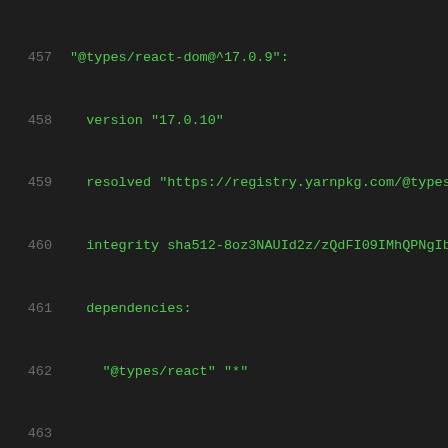457   "@types/react-dom@^17.0.9":
458     version "17.0.10"
459     resolved "https://registry.yarnpkg.com/@types
460     integrity sha512-8oz3NAUId2z/zQdFI09IMhQPNgIb
461     dependencies:
462       "@types/react" "*"
463
464   "@types/react-transition-group@^4.2.0":
465     version "4.4.4"
466     resolved "https://registry.yarnpkg.com/@types
467     integrity sha512-7gAPz7anVK5xzbeQW9wFBDg7G++a
468     dependencies:
469       "@types/react" "*"
470
471   "@types/react@*", "@types/react@^17.0.14":
472     version "17.0.31"
473     resolved "https://registry.yarnpkg.com/@types
474     integrity sha512-MQSR5EL4JZtdWRvqDgz9kXhSDDoy
475     dependencies:
476       "@types/prop-types" "*"
477       "@types/scheduler" "*"
478       csstype "A3.0.2"